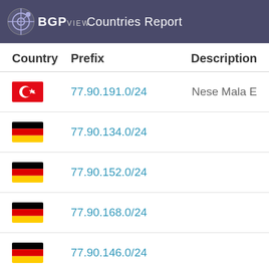BGPview Countries Report
| Country | Prefix | Description |
| --- | --- | --- |
| TR (Turkey flag) | 77.90.191.0/24 | Nese Mala E |
| DE (Germany flag) | 77.90.134.0/24 |  |
| DE (Germany flag) | 77.90.152.0/24 |  |
| DE (Germany flag) | 77.90.168.0/24 |  |
| DE (Germany flag) | 77.90.146.0/24 |  |